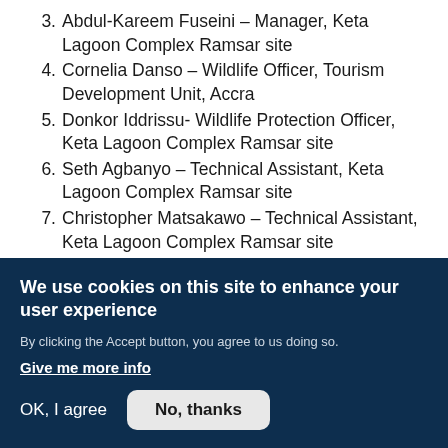3. Abdul-Kareem Fuseini – Manager, Keta Lagoon Complex Ramsar site
4. Cornelia Danso – Wildlife Officer, Tourism Development Unit, Accra
5. Donkor Iddrissu- Wildlife Protection Officer, Keta Lagoon Complex Ramsar site
6. Seth Agbanyo – Technical Assistant, Keta Lagoon Complex Ramsar site
7. Christopher Matsakawo – Technical Assistant, Keta Lagoon Complex Ramsar site
8. Francis Tsitsikla – Wildlife Guard, Keta Lagoon
We use cookies on this site to enhance your user experience
By clicking the Accept button, you agree to us doing so.
Give me more info
OK, I agree | No, thanks